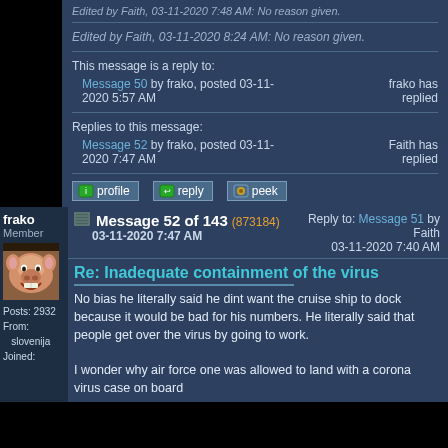Edited by Faith, 03-11-2020 7:48 AM: No reason given.
Edited by Faith, 03-11-2020 8:24 AM: No reason given.
This message is a reply to:
Message 50 by frako, posted 03-11-2020 5:57 AM
frako has replied
Replies to this message:
Message 52 by frako, posted 03-11-2020 7:47 AM
Faith has replied
frako
Member
Message 52 of 143 (873184) 03-11-2020 7:47 AM
Reply to: Message 51 by Faith 03-11-2020 7:40 AM
Re: Inadequate containment of the virus
No bias he literally said he dint want the cruise ship to dock because it would be bad for his numbers. He literally said that people get over the virus by going to work.
I wonder why air force one was allowed to land with a corona virus case on board
Posts: 2932
From:
   slovenija
Joined: